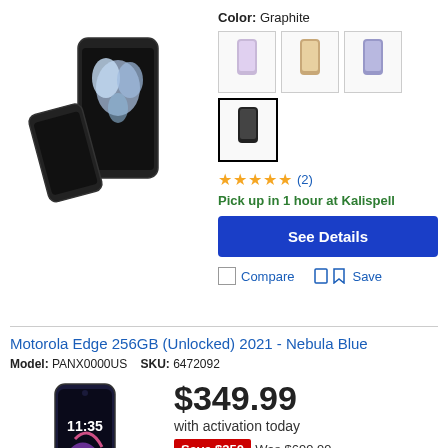[Figure (photo): Samsung Galaxy Z Flip4 phone in Graphite color, shown folded and unfolded, with a blue floral design on the inner screen]
Color: Graphite
[Figure (photo): Four color swatches for the phone: lavender/purple, gold/peach, light purple, and graphite/black (selected)]
★★★★★ (2)
Pick up in 1 hour at Kalispell
See Details
Compare
Save
Motorola Edge 256GB (Unlocked) 2021 - Nebula Blue
Model: PANX0000US   SKU: 6472092
[Figure (photo): Motorola Edge 256GB phone in Nebula Blue color, showing the front display with clock showing 11:35]
$349.99
with activation today
Save $350 Was $699.99
Deal ends in 19:53:57